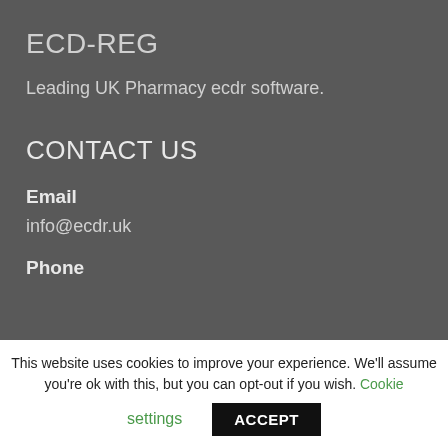ECD-REG
Leading UK Pharmacy ecdr software.
CONTACT US
Email
info@ecdr.uk
Phone
This website uses cookies to improve your experience. We'll assume you're ok with this, but you can opt-out if you wish. Cookie settings ACCEPT